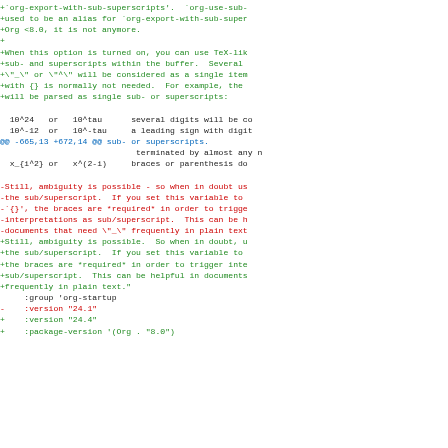Diff/patch code block showing changes to org-mode documentation source code. Lines prefixed with + are additions (green), lines prefixed with - are deletions (red), @@ lines are hunk headers (blue), and context lines have no prefix (black).